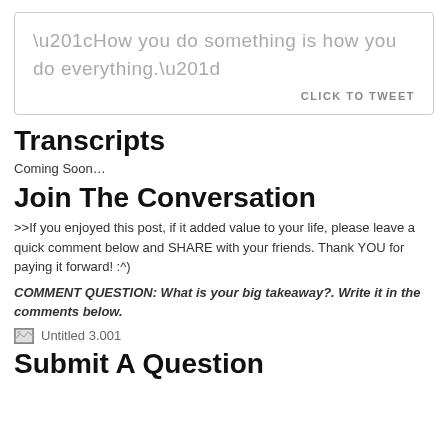“How you do something is how you do everything.” CLICK TO TWEET
Transcripts
Coming Soon…
Join The Conversation
>>If you enjoyed this post, if it added value to your life, please leave a quick comment below and SHARE with your friends. Thank YOU for paying it forward! :^)
COMMENT QUESTION: What is your big takeaway?. Write it in the comments below.
[Figure (illustration): Untitled 3.001 image placeholder]
Submit A Question